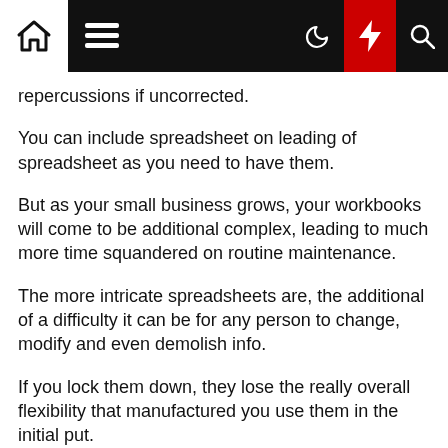Navigation bar with home, menu, dark mode, flash, and search icons
repercussions if uncorrected.
You can include spreadsheet on leading of spreadsheet as you need to have them.
But as your small business grows, your workbooks will come to be additional complex, leading to much more time squandered on routine maintenance.
The more intricate spreadsheets are, the additional of a difficulty it can be for any person to change, modify and even demolish info.
If you lock them down, they lose the really overall flexibility that manufactured you use them in the initial put.
Why automation can pace items